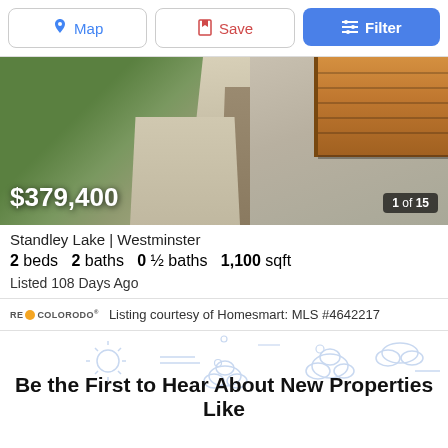Map | Save | Filter
[Figure (photo): Exterior photo of a residential property showing green lawn, concrete driveway with gravel strip, and wooden garage door. Price overlay shows $379,400 and image counter shows 1 of 15.]
Standley Lake | Westminster
2 beds  2 baths  0 ½ baths  1,100 sqft
Listed 108 Days Ago
Listing courtesy of Homesmart: MLS #4642217
[Figure (illustration): Weather icons illustration (sun, clouds, wind lines) with text 'Be the First to Hear About New Properties Like']